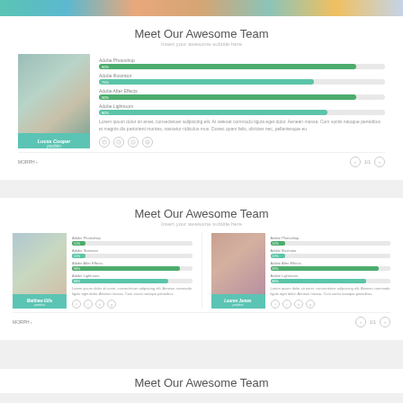[Figure (photo): Top decorative strip of team member photos]
Meet Our Awesome Team
Insert your awesome subtitle here
[Figure (photo): Team member photo of Lucas Cooper, position]
Adobe Photoshop 90% | Adobe Illustrator 75% | Adobe After Effects 90% | Adobe Lightroom 80%
Lorem ipsum dolor sit amet, consectetuer adipiscing elit. At velesat commodo ligula eget dolor. Aenean massa. Cum sociis natoque penatibus et magnis dis parturient montes, nascetur ridiculus mus. Donec quam felis, ultricies nec, pellentesque eu.
MORPH >
Meet Our Awesome Team
Insert your awesome subtitle here
[Figure (photo): Team member photo of Matthew Ellis, position]
Adobe Photoshop 11% | Adobe Illustrator 11% | Adobe After Effects 90% | Adobe Lightroom 80%
Lorem ipsum dolor sit amet, consectetuer adipiscing elit. Aenean commodo ligula eget dolor. Aenean massa. Cum sociis natoque penatibus.
[Figure (photo): Team member photo of Lauren James, position]
Adobe Photoshop 12% | Adobe Illustrator 12% | Adobe After Effects 90% | Adobe Lightroom 80%
Lorem ipsum dolor sit amet, consectetuer adipiscing elit. Aenean commodo ligula eget dolor. Aenean massa. Cum sociis natoque penatibus.
MORPH >
Meet Our Awesome Team